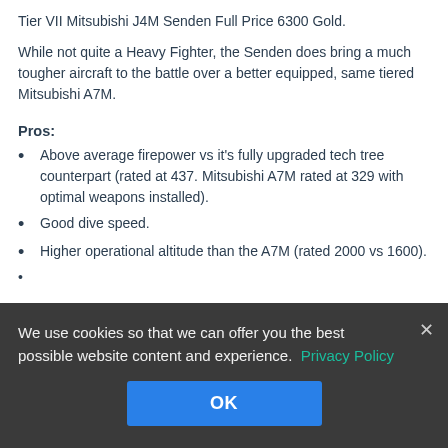Tier VII Mitsubishi J4M Senden Full Price 6300 Gold.
While not quite a Heavy Fighter, the Senden does bring a much tougher aircraft to the battle over a better equipped, same tiered Mitsubishi A7M.
Pros:
Above average firepower vs it's fully upgraded tech tree counterpart (rated at 437. Mitsubishi A7M rated at 329 with optimal weapons installed).
Good dive speed.
Higher operational altitude than the A7M (rated 2000 vs 1600).
We use cookies so that we can offer you the best possible website content and experience. Privacy Policy
OK